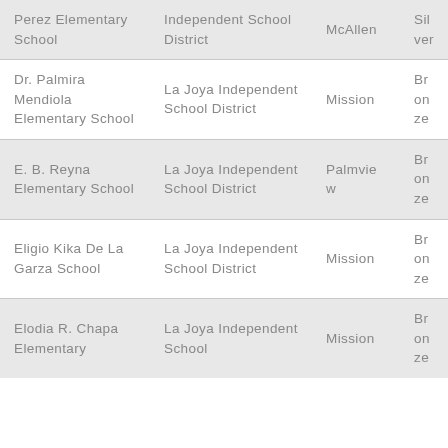| Perez Elementary School | Independent School District | McAllen | Silver |
| Dr. Palmira Mendiola Elementary School | La Joya Independent School District | Mission | Bronze |
| E. B. Reyna Elementary School | La Joya Independent School District | Palmview | Bronze |
| Eligio Kika De La Garza School | La Joya Independent School District | Mission | Bronze |
| Elodia R. Chapa Elementary | La Joya Independent School | Mission | Bronze |